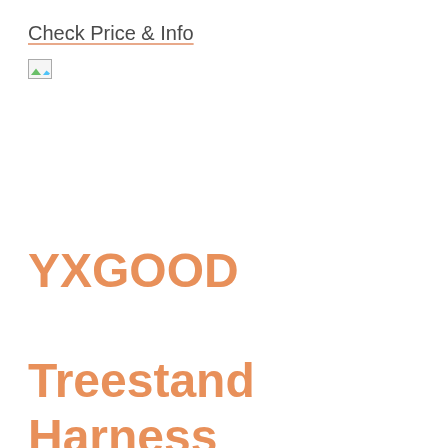Check Price & Info
[Figure (illustration): Broken image placeholder icon (small, top-left area)]
YXGOOD Treestand Harness
8 When it comes to versatility, it's hard to think of a better name than YXGOOD Treestand Harness. We'll give them that. There are so many good stories about this product and we're quite